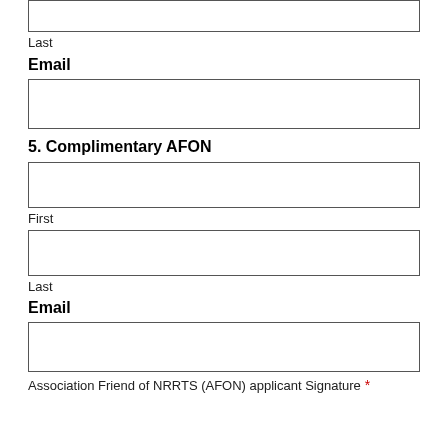[Figure (other): Input box for Last name (top, partially visible)]
Last
Email
[Figure (other): Input box for Email]
5. Complimentary AFON
[Figure (other): Input box for First name]
First
[Figure (other): Input box for Last name]
Last
Email
[Figure (other): Input box for Email (second)]
Association Friend of NRRTS (AFON) applicant Signature *